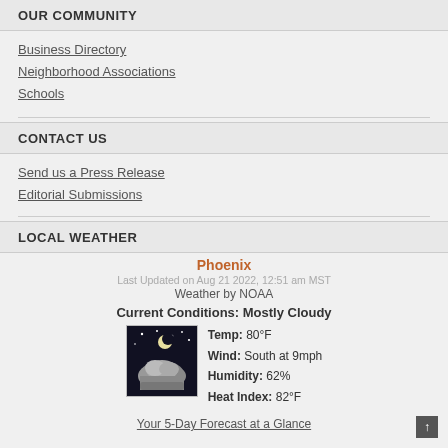OUR COMMUNITY
Business Directory
Neighborhood Associations
Schools
CONTACT US
Send us a Press Release
Editorial Submissions
LOCAL WEATHER
Phoenix
Last Updated on Aug 21 2022, 12:51 am MST
Weather by NOAA
Current Conditions: Mostly Cloudy
[Figure (photo): Mostly cloudy night sky weather icon showing clouds against a dark background]
Temp: 80°F
Wind: South at 9mph
Humidity: 62%
Heat Index: 82°F
Your 5-Day Forecast at a Glance